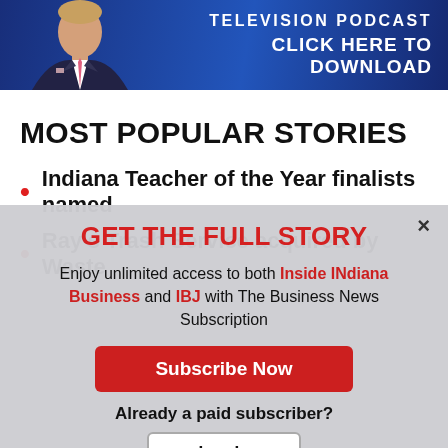[Figure (illustration): Television Podcast banner ad with a man in a suit and text 'TELEVISION PODCAST CLICK HERE TO DOWNLOAD' on blue background]
MOST POPULAR STORIES
Indiana Teacher of the Year finalists named
Ray's Trash Service acquired by Waste
GET THE FULL STORY
Enjoy unlimited access to both Inside INdiana Business and IBJ with The Business News Subscription
Subscribe Now
Already a paid subscriber?
Log In